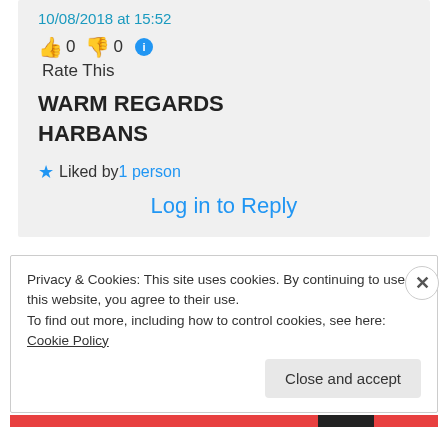10/08/2018 at 15:52
👍 0 👎 0 ℹ Rate This
WARM REGARDS
HARBANS
★ Liked by 1 person
Log in to Reply
Privacy & Cookies: This site uses cookies. By continuing to use this website, you agree to their use. To find out more, including how to control cookies, see here: Cookie Policy
Close and accept